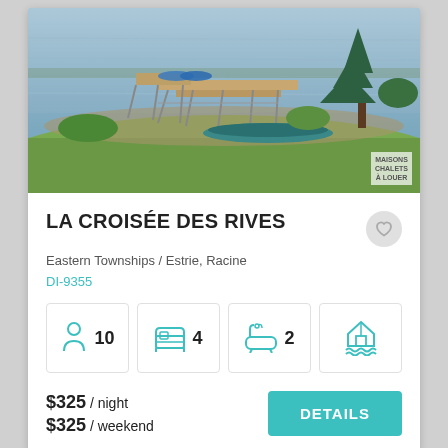[Figure (photo): Lakeside dock with kayaks on grassy shore, calm water in background, pine tree on right]
LA CROISÉE DES RIVES
Eastern Townships / Estrie, Racine
DI-9355
[Figure (infographic): Four amenity icons: person (10 guests), bed (4 bedrooms), bathtub (2 bathrooms), house on water (waterfront)]
$325 / night
$325 / weekend
DETAILS